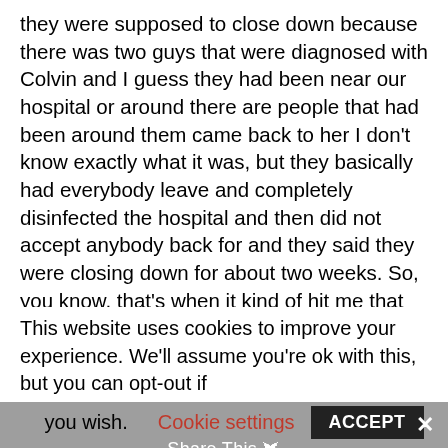they were supposed to close down because there was two guys that were diagnosed with Colvin and I guess they had been near our hospital or around there are people that had been around them came back to her I don't know exactly what it was, but they basically had everybody leave and completely disinfected the hospital and then did not accept anybody back for and they said they were closing down for about two weeks. So, you know, that's when it kind of hit me that that things were getting a lot
This website uses cookies to improve your experience. We'll assume you're ok with this, but you can opt-out if you wish.
Cookie settings
ACCEPT
Share This